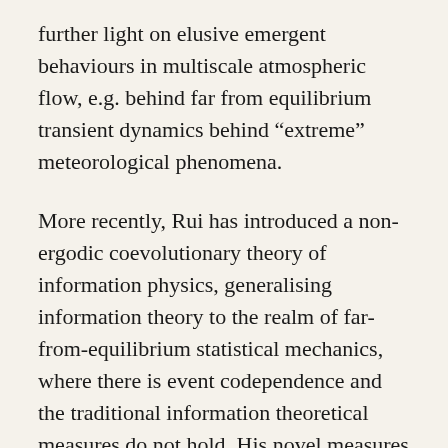further light on elusive emergent behaviours in multiscale atmospheric flow, e.g. behind far from equilibrium transient dynamics behind “extreme” meteorological phenomena.
More recently, Rui has introduced a non-ergodic coevolutionary theory of information physics, generalising information theory to the realm of far-from-equilibrium statistical mechanics, where there is event codependence and the traditional information theoretical measures do not hold. His novel measures unveil and quantify elusive sources of synergistic and coevolutionary predictability beyond post-critical spatiotemporal